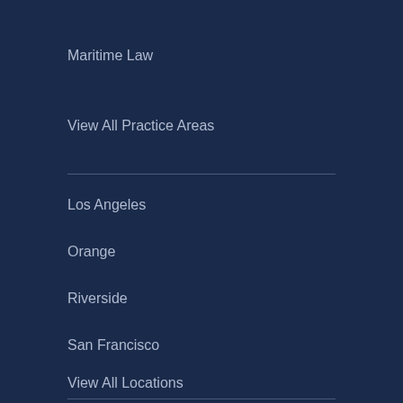Maritime Law
View All Practice Areas
Los Angeles
Orange
Riverside
San Francisco
View All Locations